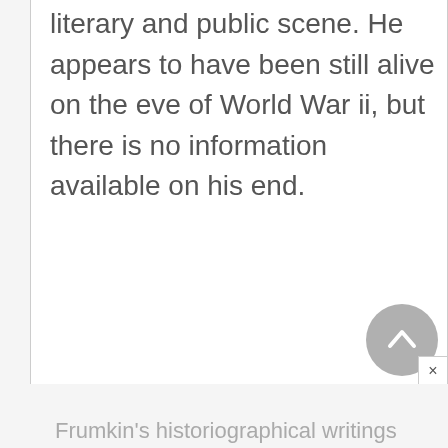literary and public scene. He appears to have been still alive on the eve of World War ii, but there is no information available on his end.
Frumkin's historiographical writings